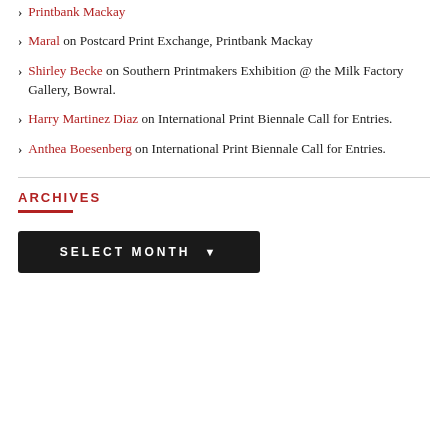Maral on Postcard Print Exchange, Printbank Mackay
Shirley Becke on Southern Printmakers Exhibition @ the Milk Factory Gallery, Bowral.
Harry Martinez Diaz on International Print Biennale Call for Entries.
Anthea Boesenberg on International Print Biennale Call for Entries.
ARCHIVES
SELECT MONTH